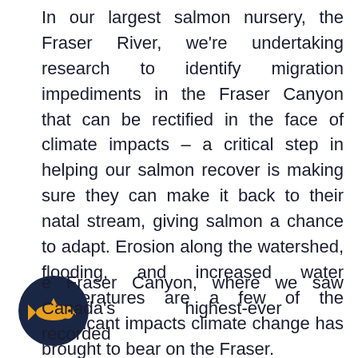In our largest salmon nursery, the Fraser River, we're undertaking research to identify migration impediments in the Fraser Canyon that can be rectified in the face of climate impacts – a critical step in helping our salmon recover is making sure they can make it back to their natal stream, giving salmon a chance to adapt. Erosion along the watershed, flooding, and increased water temperatures are a few of the significant impacts climate change has brought to bear on the Fraser.
[Figure (logo): Dark navy circle with a golden/yellow salmon fish silhouette in the center]
e Fraser Canyon, where we saw Canada's highest-ever recorded